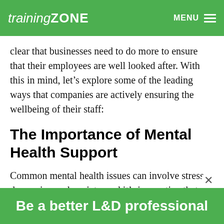trainingZONE  MENU
clear that businesses need to do more to ensure that their employees are well looked after. With this in mind, let's explore some of the leading ways that companies are actively ensuring the wellbeing of their staff:
The Importance of Mental Health Support
Common mental health issues can involve stress, depression and anxiety, and it's imperative that
Be a better L&D professional